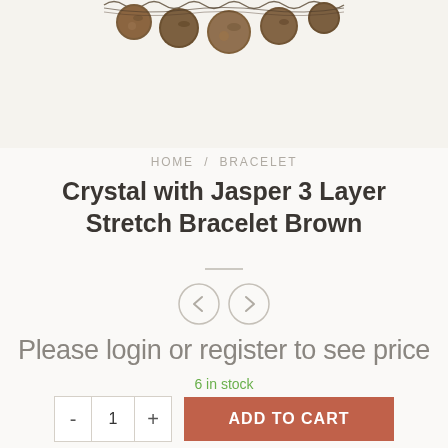[Figure (photo): Partial photo of a crystal with jasper brown stretch bracelet at top of page, showing beads and chain links against a light background]
HOME / BRACELET
Crystal with Jasper 3 Layer Stretch Bracelet Brown
[Figure (other): Two circular navigation arrow buttons (left and right chevrons) for product image carousel]
Please login or register to see price
6 in stock
- 1 + ADD TO CART